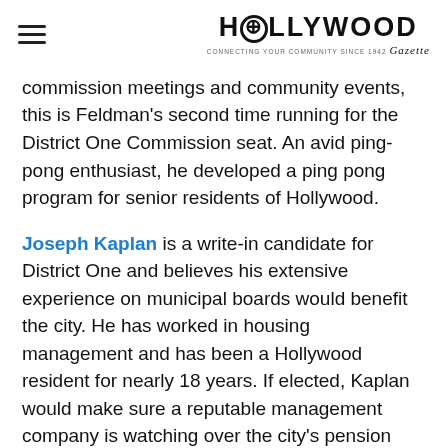HOLLYWOOD (logo with tagline)
commission meetings and community events, this is Feldman's second time running for the District One Commission seat. An avid ping-pong enthusiast, he developed a ping pong program for senior residents of Hollywood.
Joseph Kaplan is a write-in candidate for District One and believes his extensive experience on municipal boards would benefit the city. He has worked in housing management and has been a Hollywood resident for nearly 18 years. If elected, Kaplan would make sure a reputable management company is watching over the city's pension system, and he would take heed of whatever recommendations they may have for